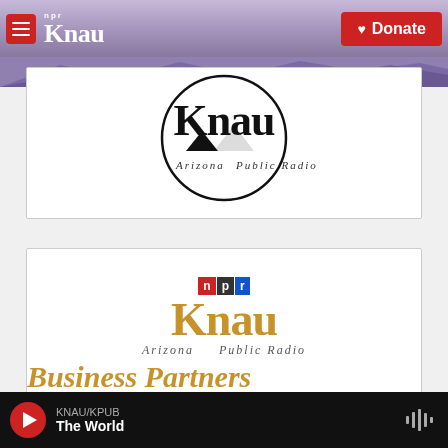[Figure (screenshot): KNAU Arizona Public Radio website navigation bar with hamburger menu, KNAU/NPR logo, mountain background, and red Donate button]
[Figure (logo): KNAU Arizona Public Radio circular logo in black and white]
[Figure (logo): KNAU Arizona Public Radio NPR logo with Business Partners text in gold]
[Figure (screenshot): Media player bar at bottom showing KNAU/KPUB playing The World with red play button and audio waveform icon]